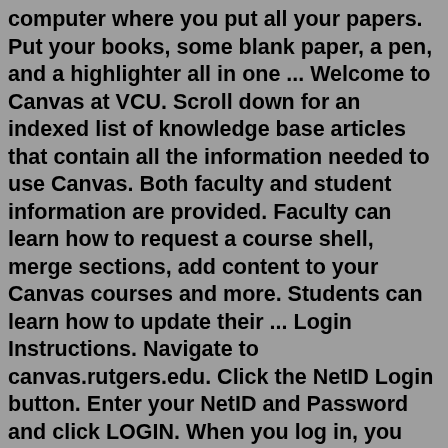computer where you put all your papers. Put your books, some blank paper, a pen, and a highlighter all in one ... Welcome to Canvas at VCU. Scroll down for an indexed list of knowledge base articles that contain all the information needed to use Canvas. Both faculty and student information are provided. Faculty can learn how to request a course shell, merge sections, add content to your Canvas courses and more. Students can learn how to update their ... Login Instructions. Navigate to canvas.rutgers.edu. Click the NetID Login button. Enter your NetID and Password and click LOGIN. When you log in, you will see your Canvas Dashboard. On the Dashboard you will only see the courses you have access to. For more information about the Dashboard layout, check out the following Canvas Guides: 2. Name the Ambiguity. As a leader, be willing to show vulnerability. By naming the unknowns, the tensions, and the fears, you open up the space to engage with them. If your team is too afraid to discuss these, you can't learn from them or use them to your advantage.